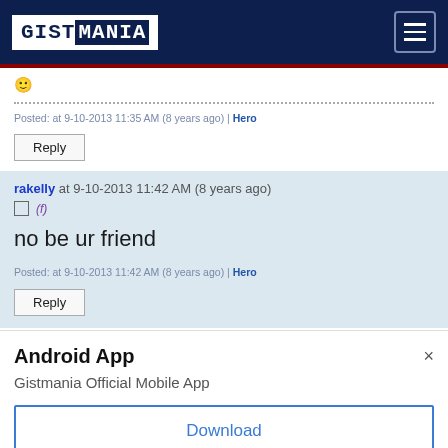GISTMANIA
Posted: at 9-10-2013 11:35 AM (8 years ago) | Hero
Reply
rakelly at 9-10-2013 11:42 AM (8 years ago)
(f)
no be ur friend
Posted: at 9-10-2013 11:42 AM (8 years ago) | Hero
Reply
Android App
Gistmania Official Mobile App
Download